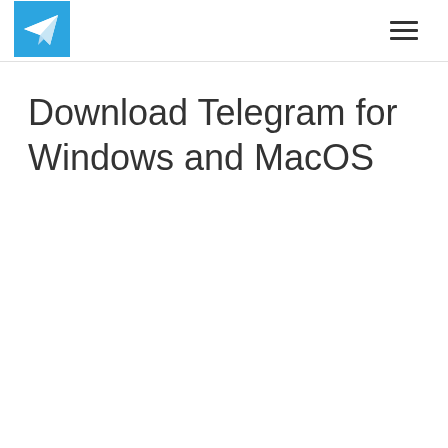[Figure (logo): Telegram logo: blue square with white paper airplane icon]
Download Telegram for Windows and MacOS